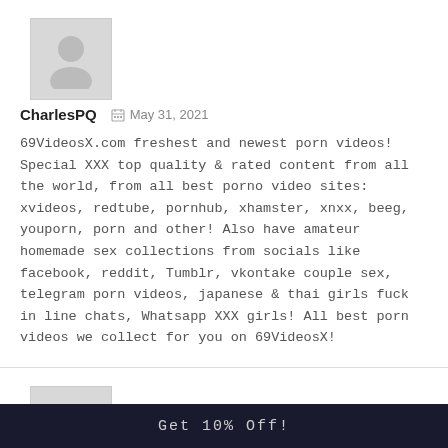[Figure (illustration): Gray placeholder avatar silhouette image for first commenter]
CharlesPQ   May 31, 2021
69VideosX.com freshest and newest porn videos! Special XXX top quality & rated content from all the world, from all best porno video sites: xvideos, redtube, pornhub, xhamster, xnxx, beeg, youporn, porn and other! Also have amateur homemade sex collections from socials like facebook, reddit, Tumblr, vkontake couple sex, telegram porn videos, japanese & thai girls fuck in line chats, Whatsapp XXX girls! All best porn videos we collect for you on 69VideosX!
[Figure (illustration): Gray placeholder avatar silhouette image for second commenter]
Get 10% Off!